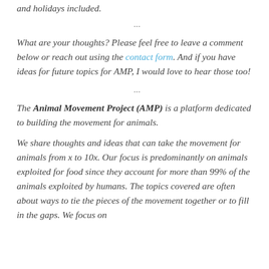and holidays included.
...
What are your thoughts? Please feel free to leave a comment below or reach out using the contact form. And if you have ideas for future topics for AMP, I would love to hear those too!
...
The Animal Movement Project (AMP) is a platform dedicated to building the movement for animals.
We share thoughts and ideas that can take the movement for animals from x to 10x. Our focus is predominantly on animals exploited for food since they account for more than 99% of the animals exploited by humans. The topics covered are often about ways to tie the pieces of the movement together or to fill in the gaps. We focus on